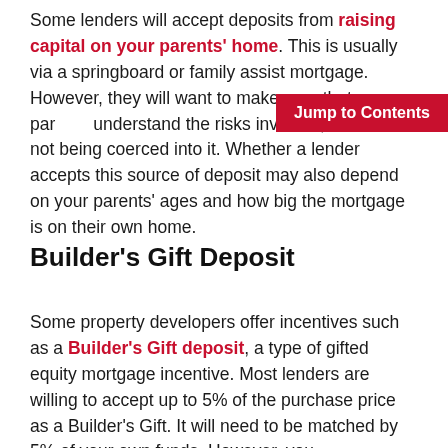Some lenders will accept deposits from raising capital on your parents' home. This is usually via a springboard or family assist mortgage. However, they will want to make sure that your parents understand the risks involved, and are not being coerced into it. Whether a lender accepts this source of deposit may also depend on your parents' ages and how big the mortgage is on their own home.
Builder's Gift Deposit
Some property developers offer incentives such as a Builder's Gift deposit, a type of gifted equity mortgage incentive. Most lenders are willing to accept up to 5% of the purchase price as a Builder's Gift. It will need to be matched by 5% of your own funds. However, you